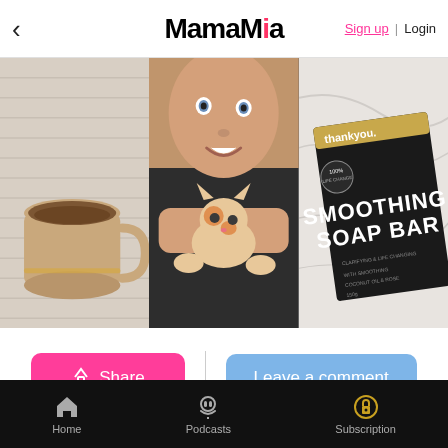MamaMia — Sign up | Login
[Figure (photo): Three-panel image strip: left panel shows a ceramic coffee mug on a textured cloth; center panel shows a person smiling holding a small orange and white kitten; right panel shows a 'thankyou.' Smoothing Soap Bar product box on a marble surface.]
Share button and Leave a comment button
While the last few months of isolation have felt like a bit
Home | Podcasts | Subscription